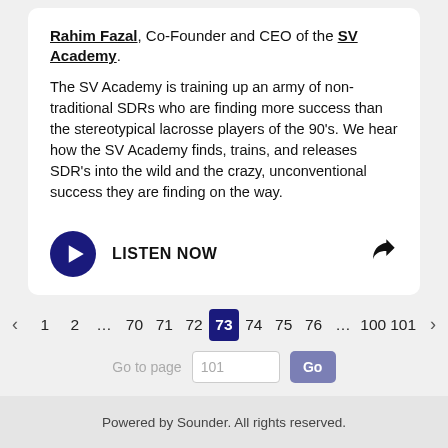Rahim Fazal, Co-Founder and CEO of the SV Academy. The SV Academy is training up an army of non-traditional SDRs who are finding more success than the stereotypical lacrosse players of the 90's. We hear how the SV Academy finds, trains, and releases SDR's into the wild and the crazy, unconventional success they are finding on the way.
LISTEN NOW
< 1 2 ... 70 71 72 73 74 75 76 ...100 101 >
Go to page 101 Go
Powered by Sounder. All rights reserved.